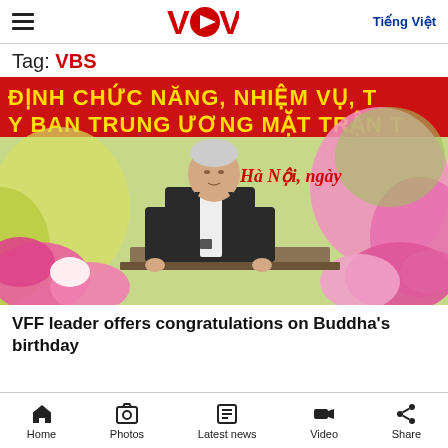VOV — Tiếng Việt
Tag: VBS
[Figure (photo): A man in a dark suit standing at a podium/table, speaking at an official event. Behind him is a banner in Vietnamese reading 'ĐỊNH CHỨC NĂNG, NHIỆM VỤ, T...' and 'Y BAN TRUNG ƯƠNG MẶT TRẬN T...' with decorative lotus flowers. Text on a banner reads 'Hà Nội, ngày...']
VFF leader offers congratulations on Buddha's birthday
Home  Photos  Latest news  Video  Share